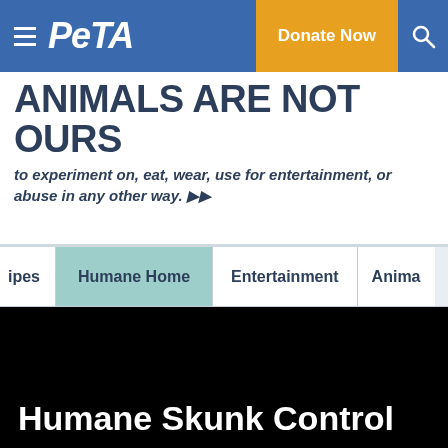PETA — Donate Now
ANIMALS ARE NOT OURS
to experiment on, eat, wear, use for entertainment, or abuse in any other way. ▶▶
ipes | Humane Home | Entertainment | Anima
[Figure (screenshot): Black video thumbnail background with white bold text 'Humane Skunk Control']